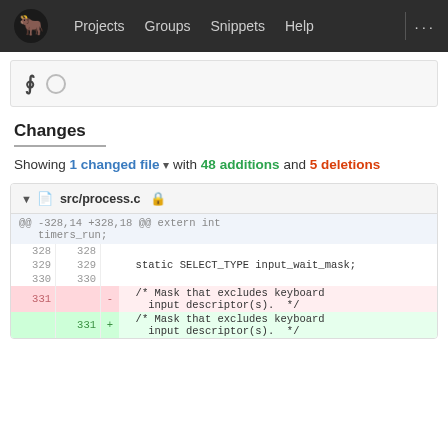Projects  Groups  Snippets  Help  ...
[Figure (screenshot): Merge request icon and spinner/loading indicator]
Changes
Showing 1 changed file with 48 additions and 5 deletions
[Figure (screenshot): Diff view of src/process.c showing lines 328-331 with deletions and additions. @@ -328,14 +328,18 @@ extern int timers_run; Lines 328-330 unchanged. Line 331 deleted: /* Mask that excludes keyboard input descriptor(s).  */ Line 331 added: /* Mask that excludes keyboard input descriptor(s). */]